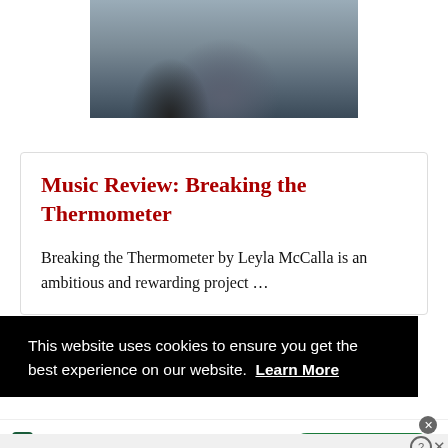[Figure (photo): Partial photo showing a person in a dark blue shirt from behind, with a blurred outdoor background]
Music Review: Breaking the Thermometer
Breaking the Thermometer by Leyla McCalla is an ambitious and rewarding project …
This website uses cookies to ensure you get the best experience on our website. Learn More
[Figure (screenshot): Tally app advertisement: Fast credit card payoff, Download Now button]